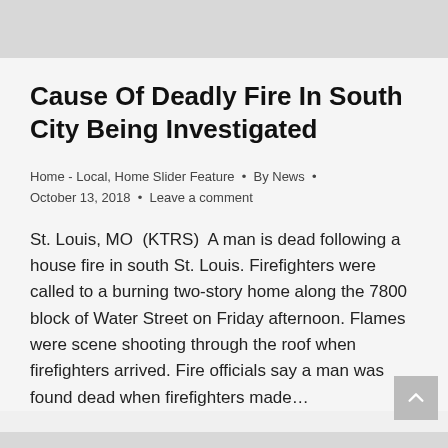Cause Of Deadly Fire In South City Being Investigated
Home - Local, Home Slider Feature • By News • October 13, 2018 • Leave a comment
St. Louis, MO  (KTRS)  A man is dead following a house fire in south St. Louis. Firefighters were called to a burning two-story home along the 7800 block of Water Street on Friday afternoon. Flames were scene shooting through the roof when firefighters arrived. Fire officials say a man was found dead when firefighters made…